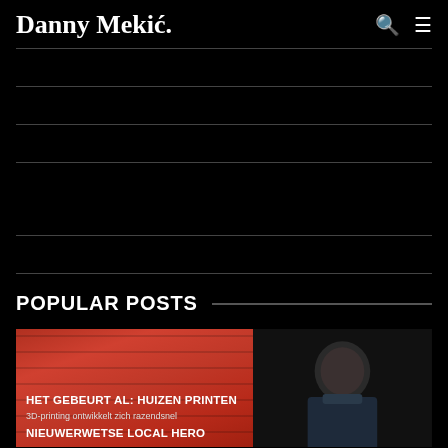Danny Mekić.
RETAIL & E-COMMERCE
NEW WAYS OF WORKING & HACKATHONS
SMART CITIES & TRAVEL
BIG DATA, ARTIFICIAL INTELLIGENCE, ROBOTS, DRONES, 3D PRINTERS, VIRTUAL REALITY, INTERNET OF THINGS & SELF DRIVING CARS
LAW, PRIVACY & CYBERCRIME
POPULAR POSTS
[Figure (photo): Post thumbnail with red striped background on left and person in suit on right. Text overlay reads: HET GEBEURT AL: HUIZEN PRINTEN / 3D-printing ontwikkelt zich razendsnel / NIEUWERWETSE LOCAL HERO]